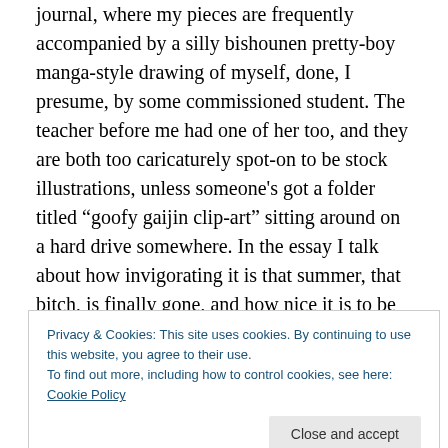journal, where my pieces are frequently accompanied by a silly bishounen pretty-boy manga-style drawing of myself, done, I presume, by some commissioned student. The teacher before me had one of her too, and they are both too caricaturely spot-on to be stock illustrations, unless someone's got a folder titled “goofy gaijin clip-art” sitting around on a hard drive somewhere. In the essay I talk about how invigorating it is that summer, that bitch, is finally gone, and how nice it is to be able to breathe the crisp air again, and how I really love not losing 5% of my body weight in sweat every time I walk to work. I do not
Privacy & Cookies: This site uses cookies. By continuing to use this website, you agree to their use.
To find out more, including how to control cookies, see here: Cookie Policy
Close and accept
For example, the other day I got rid of nearly all the non